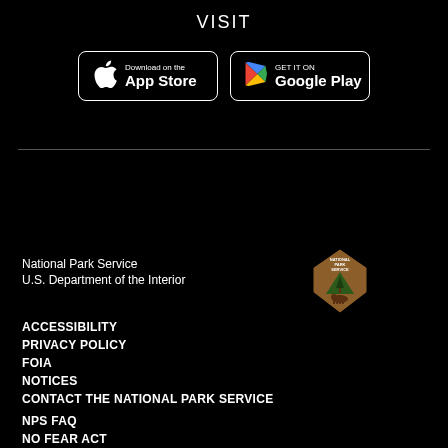VISIT
[Figure (logo): App Store and Google Play download buttons]
National Park Service
U.S. Department of the Interior
[Figure (logo): National Park Service arrowhead logo]
ACCESSIBILITY
PRIVACY POLICY
FOIA
NOTICES
CONTACT THE NATIONAL PARK SERVICE
NPS FAQ
NO FEAR ACT
DISCLAIMER
VULNERABILITY DISCLOSURE STATEMENT